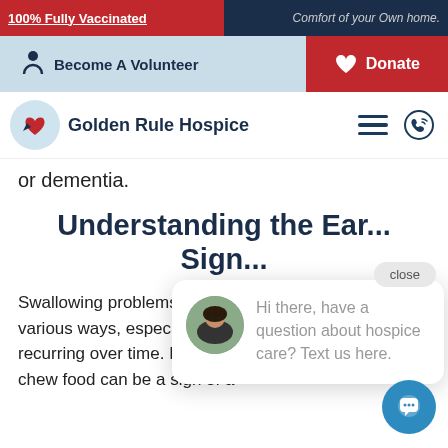100% Fully Vaccinated | Comfort of your Own home.
Become A Volunteer | Donate
Golden Rule Hospice
or dementia.
Understanding the Early Signs
[Figure (photo): Chat popup with avatar photo of a woman, text: Hi there, have a question about hospice care? Text us here.]
Swallowing problems can become noticeable in various ways, especially when rare occasions become recurring over time. For example, the extra effort to chew food can be a sign of a